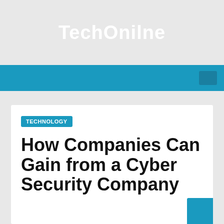TechOnilne
TECHNOLOGY
How Companies Can Gain from a Cyber Security Company